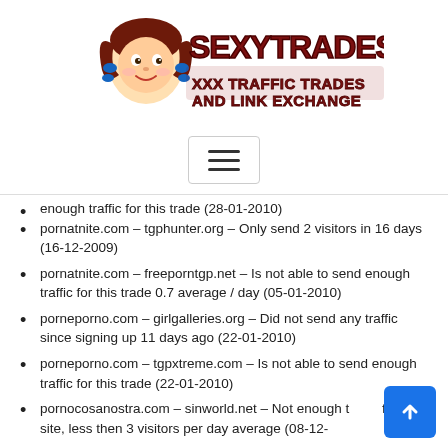[Figure (logo): SexyTrades.net logo with cartoon character and text 'XXX TRAFFIC TRADES AND LINK EXCHANGE']
[Figure (other): Hamburger menu button]
enough traffic for this trade (28-01-2010)
pornatnite.com – tgphunter.org – Only send 2 visitors in 16 days (16-12-2009)
pornatnite.com – freeporntgp.net – Is not able to send enough traffic for this trade 0.7 average / day (05-01-2010)
porneporno.com – girlgalleries.org – Did not send any traffic since signing up 11 days ago (22-01-2010)
porneporno.com – tgpxtreme.com – Is not able to send enough traffic for this trade (22-01-2010)
pornocosanostra.com – sinworld.net – Not enough traffic for this site, less then 3 visitors per day average (08-12-